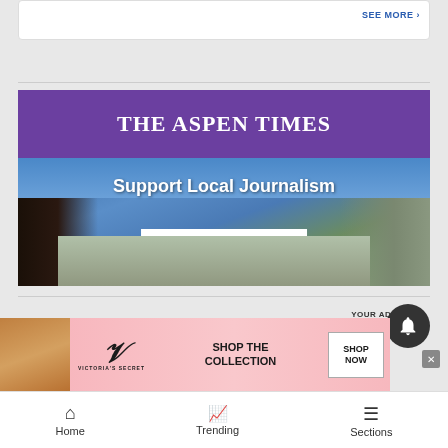SEE MORE »
[Figure (illustration): The Aspen Times banner advertisement showing purple header with newspaper name, winter landscape photo with snow-covered trees, 'Support Local Journalism' text, and DONATE button]
YOUR AD HERE »
[Figure (illustration): Victoria's Secret advertisement banner with model, VS logo, 'SHOP THE COLLECTION', and 'SHOP NOW' button]
Home   Trending   Sections